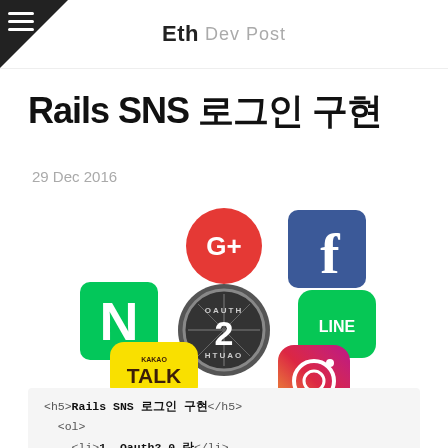Eth Dev Post
Rails SNS 로그인 구현
29 Dec 2016
[Figure (illustration): Social login logos: Google+, Facebook, Naver, LINE, KakaoTalk, Instagram, and OAuth2 badge in center]
<h5>Rails SNS 로그인 구현</h5>
<ol>
  <li>1. Oauth2.0 란</li>